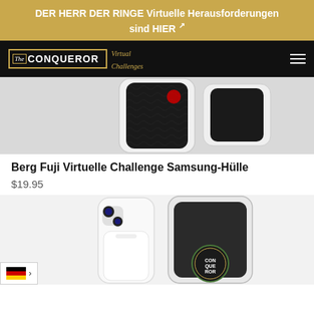DER HERR DER RINGE Virtuelle Herausforderungen sind HIER ↗
[Figure (logo): The Conqueror Virtual Challenges logo on black navigation bar]
[Figure (photo): Berg Fuji Virtuelle Challenge Samsung phone case showing Japanese wave pattern on dark background]
Berg Fuji Virtuelle Challenge Samsung-Hülle
$19.95
[Figure (photo): Phone case product image showing iPhone with dark back panel and circular Conqueror badge on white phone mockup]
[Figure (infographic): German flag language selector with forward arrow]